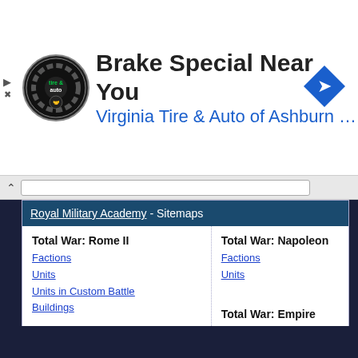[Figure (other): Advertisement banner for Virginia Tire & Auto of Ashburn with logo, headline 'Brake Special Near You', and navigation arrow icon]
Royal Military Academy - Sitemaps
Total War: Rome II
Factions
Units
Units in Custom Battle
Buildings
Total War: Shogun 2
Factions
Units
Shogun 2: Rise of the Samurai
Shogun 2: Fall of the Samurai
Total War: Napoleon
Factions
Units
Total War: Empire
Factions
Units
Copyright © 2008 - 2013, www.honga.net